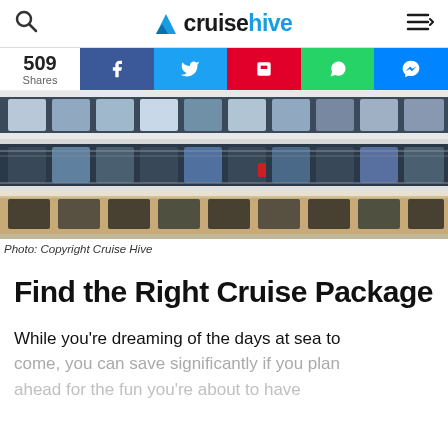cruisehive
[Figure (photo): Close-up of cruise ship exterior showing multiple decks with balconies and cabin windows]
Photo: Copyright Cruise Hive
Find the Right Cruise Package
While you’re dreaming of the days at sea to come, you can save significantly if you plan ahead for the fun you’re about to have